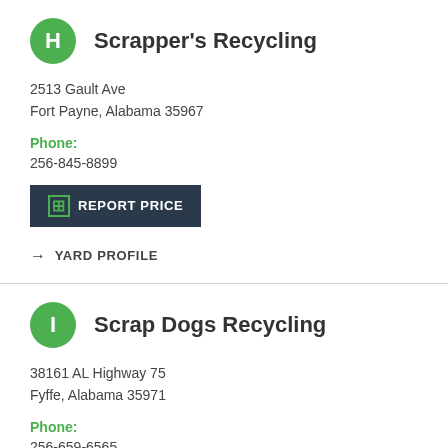Scrapper's Recycling
2513 Gault Ave
Fort Payne, Alabama 35967
Phone:
256-845-8899
⊞ REPORT PRICE
→ YARD PROFILE
Scrap Dogs Recycling
38161 AL Highway 75
Fyffe, Alabama 35971
Phone:
256-659-6565